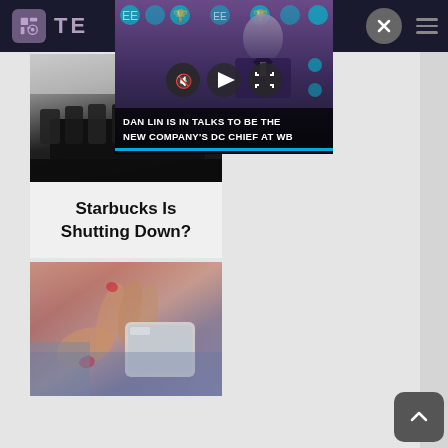TE (website header with logo and navigation)
[Figure (screenshot): Video popup overlay showing a man at a BAFTA press event. Text overlay reads: DAN LIN IS IN TALKS TO BE THE NEW COMPANY'S DC CHIEF AT WB. Video controls (mute, play, fullscreen) are visible.]
[Figure (photo): Black and white photo of an empty conference room with chairs and tables.]
Starbucks Is Shutting Down?
[Figure (photo): Close-up photo of a person's hand holding a smartphone, with a warm/purple toned filter.]